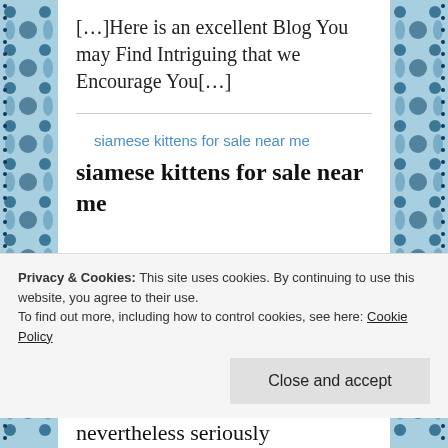[…]Here is an excellent Blog You may Find Intriguing that we Encourage You[…]
siamese kittens for sale near me
siamese kittens for sale near me
Privacy & Cookies: This site uses cookies. By continuing to use this website, you agree to their use.
To find out more, including how to control cookies, see here: Cookie Policy
Close and accept
nevertheless seriously